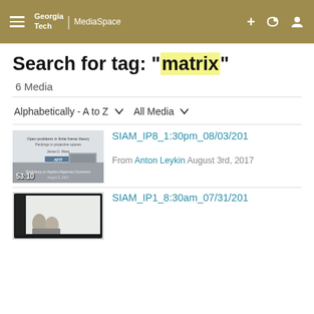Georgia Tech MediaSpace — navigation header
Search for tag: "matrix"
6 Media
Alphabetically - A to Z   All Media
[Figure (screenshot): Video thumbnail showing a lecture slide titled 'Open problems in finite frame theory: Packings in projective spaces' by Jesse D. Mara, AFIT, duration 53:10]
SIAM_IP8_1:30pm_08/03/201
From Anton Leykin  August 3rd, 2017
[Figure (screenshot): Video thumbnail showing a person presenting in front of a screen]
SIAM_IP1_8:30am_07/31/201